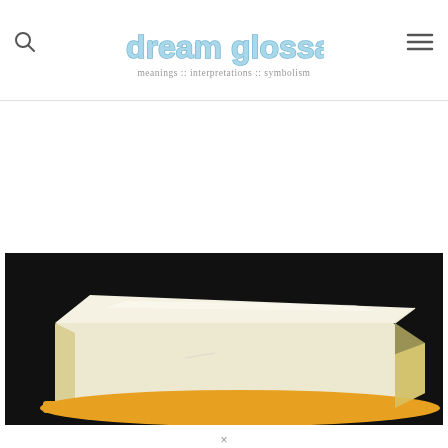dream glossary — meanings :: interpretations :: symbolism
[Figure (photo): A block of butter on a yellow plate against a dark/black background]
×